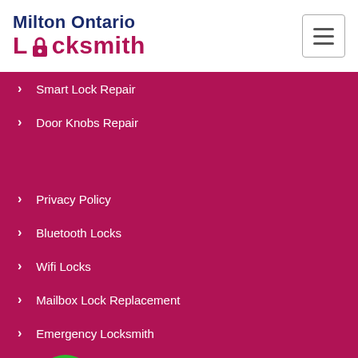Milton Ontario Locksmith
Smart Lock Repair
Door Knobs Repair
Privacy Policy
Bluetooth Locks
Wifi Locks
Mailbox Lock Replacement
Emergency Locksmith
Contact Information
Email Us  647-931-1547